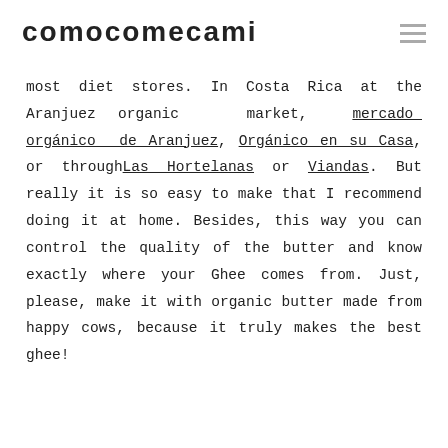COMOCOMECAMI
most diet stores. In Costa Rica at the Aranjuez organic market, mercado orgánico de Aranjuez, Orgánico en su Casa, or through Las Hortelanas or Viandas. But really it is so easy to make that I recommend doing it at home. Besides, this way you can control the quality of the butter and know exactly where your Ghee comes from. Just, please, make it with organic butter made from happy cows, because it truly makes the best ghee!